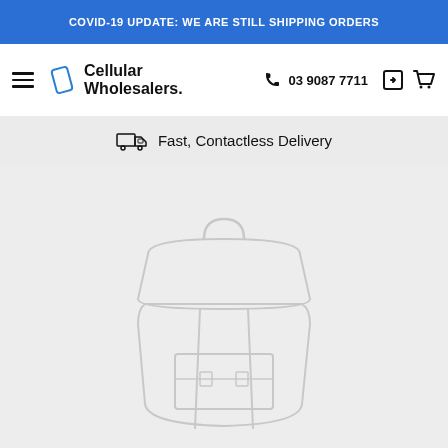COVID-19 UPDATE: WE ARE STILL SHIPPING ORDERS
[Figure (logo): Cellular Wholesalers logo with phone icon and hamburger menu, phone number 03 9087 7711, login and cart icons]
Fast, Contactless Delivery
[Figure (illustration): Light gray product placeholder image showing outline of a backpack on gray background]